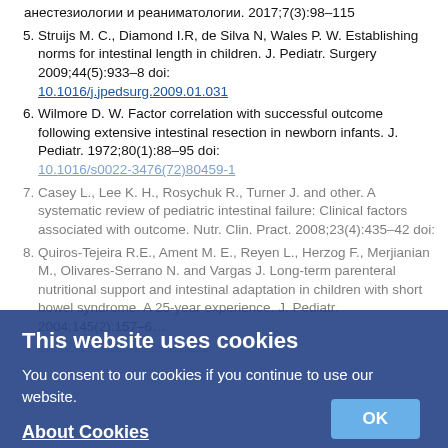анестезиологии и реаниматологии. 2017;7(3):98–115
5. Struijs M. C., Diamond I.R, de Silva N, Wales P. W. Establishing norms for intestinal length in children. J. Pediatr. Surgery 2009;44(5):933–8 doi: 10.1016/j.jpedsurg.2009.01.031
6. Wilmore D. W. Factor correlation with successful outcome following extensive intestinal resection in newborn infants. J. Pediatr. 1972;80(1):88–95 doi: 10.1016/s0022-3476(72)80459-1
7. Casey L., Lee K. H., Rosychuk R., Turner J. and other. A systematic review of pediatric intestinal failure: Clinical factors associated with outcome. Nutr. Clin. Pract. 2008;23(4):435–42 doi:
8. Quiros-Tejeira R.E., Ament M. E., Reyen L., Herzog F., Merjianian M., Olivares-Serrano N. and Vargas J. Long-term parenteral nutritional support and intestinal adaptation in children with short bowel syndrome. A 25-year experience. J. Pediatr. 2004;145(2):157–63 doi: 10.1016/j.jpeds.2004.02.030
9. Spenncer A. U., Neaga A., West B., Safran J., Brown P., Btaiche I., Kuzma-O`Reilly B. and Teitelbaum D. H. Pediatric short bowel syndrome: Redefining predictors of success. Ann. Surg. 2005;242(3):403–9; discussion 409–412. doi: 10.1097/01.sla.0000179647.24046.03
10. Duggan C. B. Clinical management of intestinal...
This website uses cookies
You consent to our cookies if you continue to use our website.
About Cookies [OK button]